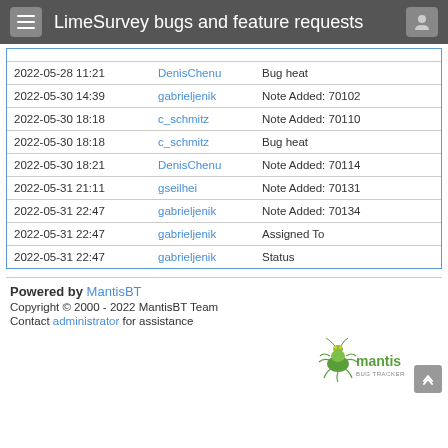LimeSurvey bugs and feature requests
| Date | Username | Action |
| --- | --- | --- |
| 2022-05-28 11:21 | DenisChenu | Bug heat |
| 2022-05-30 14:39 | gabrieljenik | Note Added: 70102 |
| 2022-05-30 18:18 | c_schmitz | Note Added: 70110 |
| 2022-05-30 18:18 | c_schmitz | Bug heat |
| 2022-05-30 18:21 | DenisChenu | Note Added: 70114 |
| 2022-05-31 21:11 | gseilhei | Note Added: 70131 |
| 2022-05-31 22:47 | gabrieljenik | Note Added: 70134 |
| 2022-05-31 22:47 | gabrieljenik | Assigned To |
| 2022-05-31 22:47 | gabrieljenik | Status |
Powered by MantisBT
Copyright © 2000 - 2022 MantisBT Team
Contact administrator for assistance
[Figure (logo): Mantis Bug Tracker logo with green praying mantis insect and 'mantis BUG TRACKER' text]